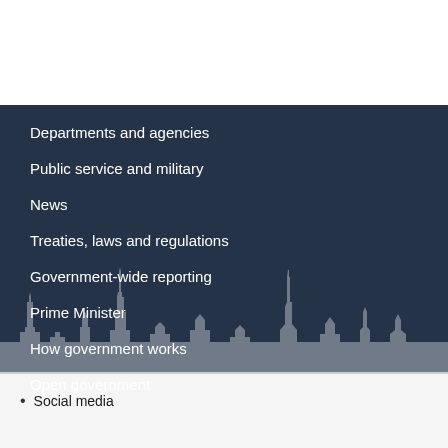Departments and agencies
Public service and military
News
Treaties, laws and regulations
Government-wide reporting
Prime Minister
How government works
Open government
Social media